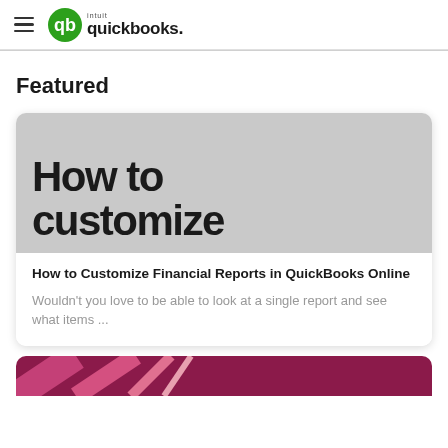QuickBooks
Featured
[Figure (screenshot): Featured article card with gray image area showing large text 'How to customize' and article info below]
How to Customize Financial Reports in QuickBooks Online
Wouldn't you love to be able to look at a single report and see what items ...
[Figure (illustration): Partial view of a second article card with dark maroon/pink stripe pattern at the bottom of the page]